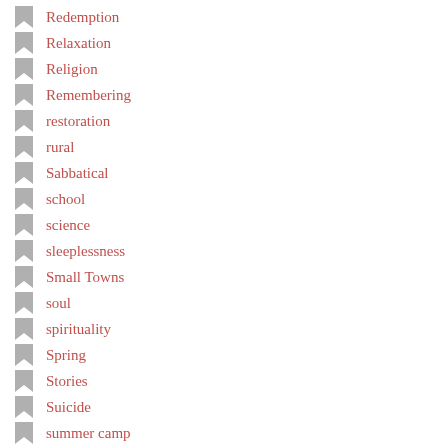Redemption
Relaxation
Religion
Remembering
restoration
rural
Sabbatical
school
science
sleeplessness
Small Towns
soul
spirituality
Spring
Stories
Suicide
summer camp
summer vacation